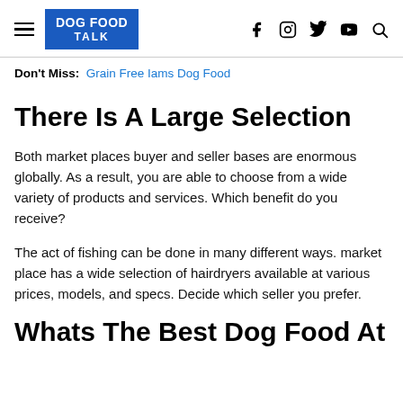DOG FOOD TALK
Don't Miss: Grain Free Iams Dog Food
There Is A Large Selection
Both market places buyer and seller bases are enormous globally. As a result, you are able to choose from a wide variety of products and services. Which benefit do you receive?
The act of fishing can be done in many different ways. market place has a wide selection of hairdryers available at various prices, models, and specs. Decide which seller you prefer.
Whats The Best Dog Food At